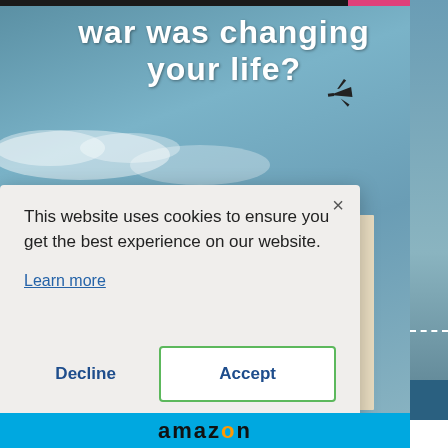[Figure (illustration): Book advertisement background showing sky and clouds with text 'war was changing your life?' in white bold font, a Kindle e-reader showing 'I'LL TAKE THAT ONE' and a physical book with the same title 'I'LL TAKE THAT ONE An Evacuee's Childhood']
This website uses cookies to ensure you get the best experience on our website.
Learn more
Decline
Accept
[Figure (logo): Amazon logo partial text at bottom of page on blue background]